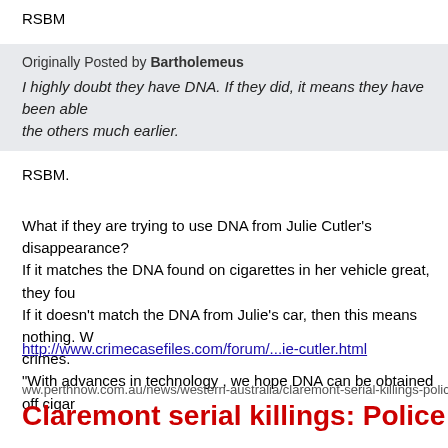RSBM
Originally Posted by Bartholemeus
I highly doubt they have DNA. If they did, it means they have been able to the others much earlier.
RSBM.
What if they are trying to use DNA from Julie Cutler's disappearance? If it matches the DNA found on cigarettes in her vehicle great, they fou If it doesn't match the DNA from Julie's car, then this means nothing. W crimes. "With advances in technology , we hope DNA can be obtained off cigar
http://www.crimecasefiles.com/forum/...ie-cutler.html
ww.perthnow.com.au/news/western-australia/claremont-serial-killings-police-piecing
Claremont serial killings: Police piecing
John Flint, PerthNow
December 31, 2016 8:15am